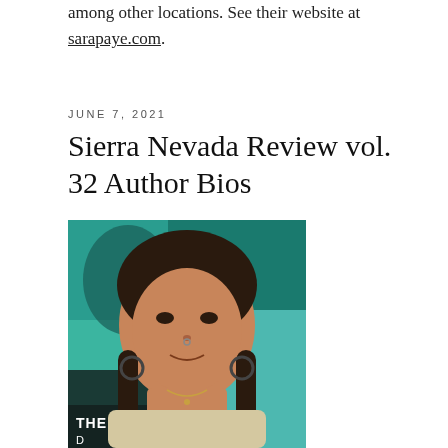among other locations. See their website at sarapaye.com.
JUNE 7, 2021
Sierra Nevada Review vol. 32 Author Bios
[Figure (photo): Portrait photo of a woman with dark braided hair, hoop earrings, a nose ring, and a knit sweater, smiling slightly at the camera. Colorful background with artwork visible behind her. Text at bottom left reads 'THE CRO...']